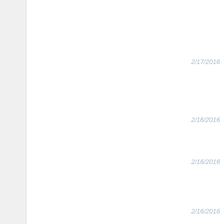2/17/2016
2/16/2016
2/16/2016
2/16/2016